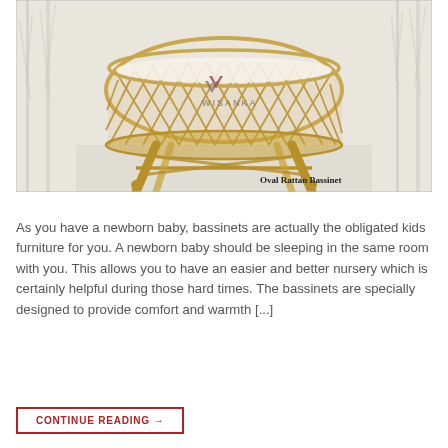[Figure (photo): An oval rattan bassinet with a wicker lattice weave body, cream cushion inside, and four curved legs with cross-support bracing. The Wisanka logo is visible on the bassinet. Background shows a pale grey room with tree silhouettes. Text 'Oval Rattan Bassinet' appears in the lower right corner of the image.]
As you have a newborn baby, bassinets are actually the obligated kids furniture for you. A newborn baby should be sleeping in the same room with you. This allows you to have an easier and better nursery which is certainly helpful during those hard times. The bassinets are specially designed to provide comfort and warmth [...]
CONTINUE READING →